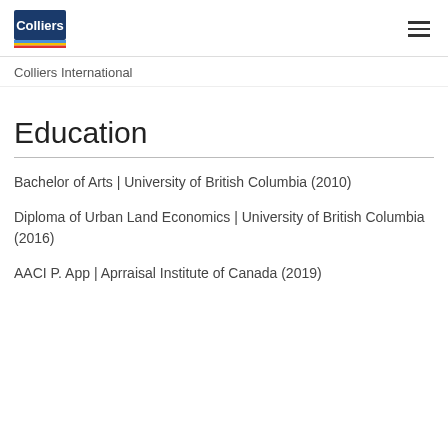Colliers International
Education
Bachelor of Arts | University of British Columbia (2010)
Diploma of Urban Land Economics | University of British Columbia (2016)
AACI P. App | Aprraisal Institute of Canada (2019)